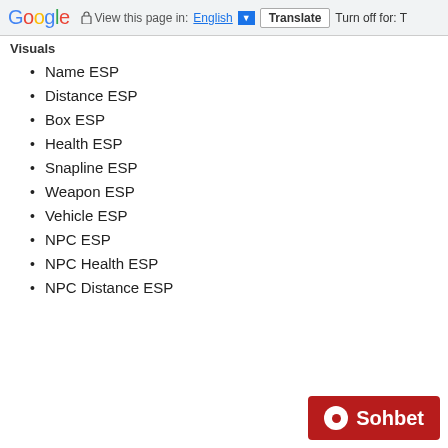Google  View this page in: English [▼]  Translate  Turn off for: T
Visuals
Name ESP
Distance ESP
Box ESP
Health ESP
Snapline ESP
Weapon ESP
Vehicle ESP
NPC ESP
NPC Health ESP
NPC Distance ESP
[Figure (other): Sohbet chat button - red rounded rectangle with white circle icon and bold white text 'Sohbet']